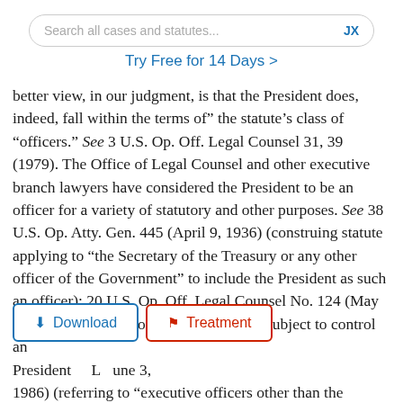Search all cases and statutes...   JX
Try Free for 14 Days >
better view, in our judgment, is that the President does, indeed, fall within the terms of" the statute’s class of “officers.” See 3 U.S. Op. Off. Legal Counsel 31, 39 (1979). The Office of Legal Counsel and other executive branch lawyers have considered the President to be an officer for a variety of statutory and other purposes. See 38 U.S. Op. Atty. Gen. 445 (April 9, 1936) (construing statute applying to “the Secretary of the Treasury or any other officer of the Government” to include the President as such an officer); 20 U.S. Op. Off. Legal Counsel No. 124 (May 7, 1976) (referring to “an officer who is subject to control and removal by an officer other than the President”). L... June 3, 1986) (referring to “executive officers other than the